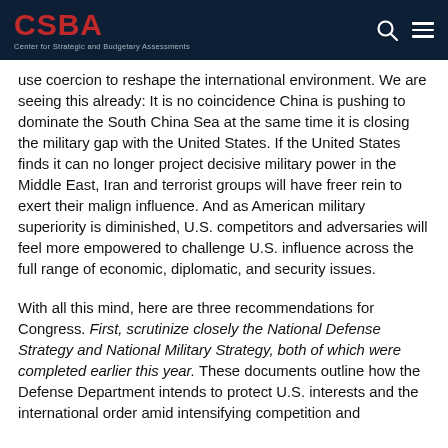CSBA — Center for Strategic and Budgetary Assessments
use coercion to reshape the international environment. We are seeing this already: It is no coincidence China is pushing to dominate the South China Sea at the same time it is closing the military gap with the United States. If the United States finds it can no longer project decisive military power in the Middle East, Iran and terrorist groups will have freer rein to exert their malign influence. And as American military superiority is diminished, U.S. competitors and adversaries will feel more empowered to challenge U.S. influence across the full range of economic, diplomatic, and security issues.
With all this mind, here are three recommendations for Congress. First, scrutinize closely the National Defense Strategy and National Military Strategy, both of which were completed earlier this year. These documents outline how the Defense Department intends to protect U.S. interests and the international order amid intensifying competition and